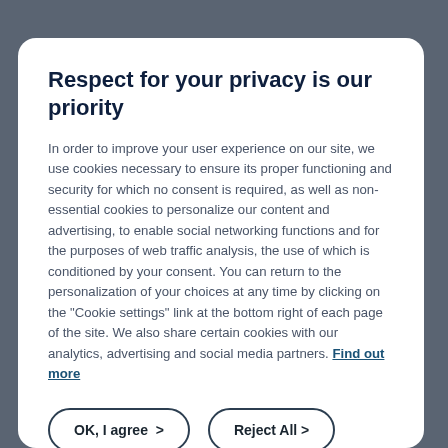Respect for your privacy is our priority
In order to improve your user experience on our site, we use cookies necessary to ensure its proper functioning and security for which no consent is required, as well as non-essential cookies to personalize our content and advertising, to enable social networking functions and for the purposes of web traffic analysis, the use of which is conditioned by your consent. You can return to the personalization of your choices at any time by clicking on the "Cookie settings" link at the bottom right of each page of the site. We also share certain cookies with our analytics, advertising and social media partners. Find out more
OK, I agree >
Reject All >